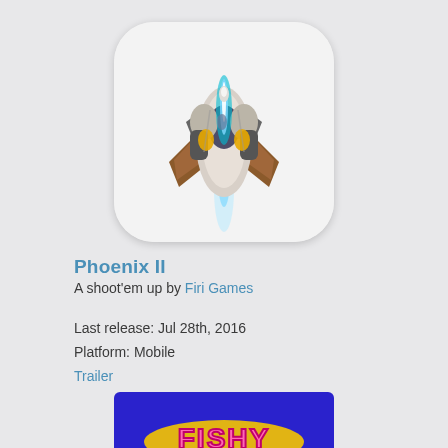[Figure (illustration): App icon for Phoenix II — a rounded-rectangle white icon showing a stylized sci-fi spacecraft viewed from above with blue engine glow, brown wings, and yellow/red cockpit details on a light gray background.]
Phoenix II
A shoot'em up by Firi Games
Last release: Jul 28th, 2016
Platform: Mobile
Trailer
[Figure (screenshot): Partial view of a second game entry with a blue/purple background and pink bubbly logo text reading 'FISHY' (partially visible at bottom of page).]